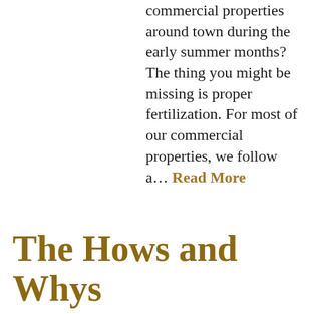commercial properties around town during the early summer months? The thing you might be missing is proper fertilization. For most of our commercial properties, we follow a… Read More
The Hows and Whys